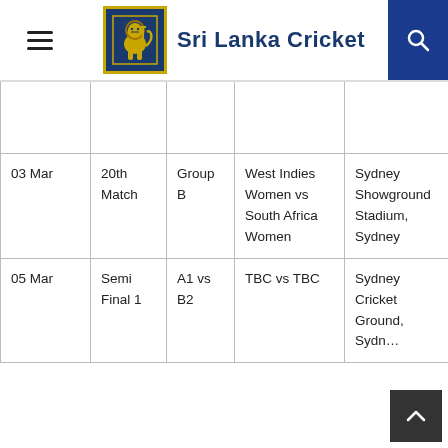Sri Lanka Cricket
| Date | Match | Group | Teams | Venue |
| --- | --- | --- | --- | --- |
|  |  |  |  |  |
| 03 Mar | 20th Match | Group B | West Indies Women vs South Africa Women | Sydney Showground Stadium, Sydney |
| 05 Mar | Semi Final 1 | A1 vs B2 | TBC vs TBC | Sydney Cricket Ground, Sydney |